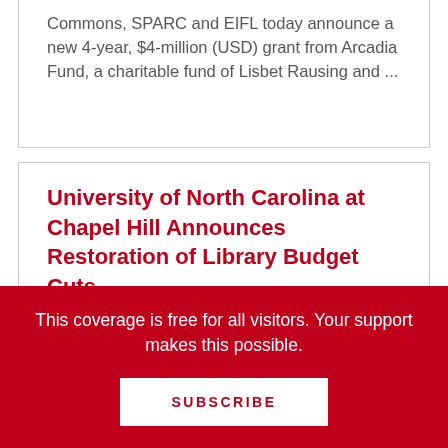Commons, SPARC and EIFL today announce a new 4-year, $4-million (USD) grant from Arcadia Fund, a charitable fund of Lisbet Rausing and ...
University of North Carolina at Chapel Hill Announces Restoration of Library Budget Cuts
From a Letter/Online Post by J. Christopher Clemens, Provost and Chief Academic Officer, Univeristy of North Carolina: Many of you may recall that the budget for the campus libraries decreased ...
This coverage is free for all visitors. Your support makes this possible.
SUBSCRIBE